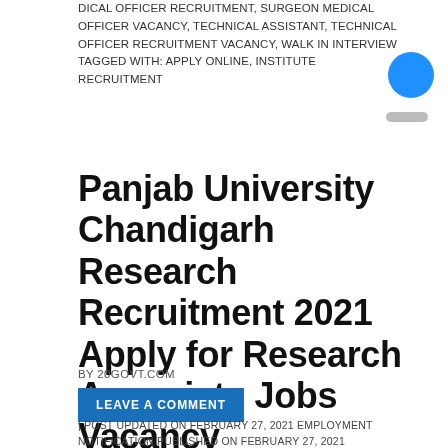DICAL OFFICER RECRUITMENT, SURGEON MEDICAL OFFICER VACANCY, TECHNICAL ASSISTANT, TECHNICAL OFFICER RECRUITMENT VACANCY, WALK IN INTERVIEW TAGGED WITH: APPLY ONLINE, INSTITUTE RECRUITMENT
Panjab University Chandigarh Research Recruitment 2021 Apply for Research Associate Jobs Vacancy
BY 20GOVT.COM
LEAVE A COMMENT
| POST UPDATED ON FEBRUARY 27, 2021 EMPLOYMENT NOTIFICATION PUBLISHED ON FEBRUARY 27, 2021